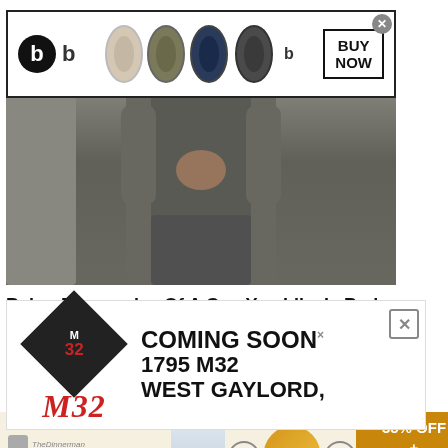[Figure (photo): Fashion photo of person in gray outfit]
Being Possessive Of A Guy You Like Is Bad Enough As It Is
Herbeauty
[Figure (infographic): M32 Coming Soon advertisement - 1795 M32 West Gaylord]
[Figure (infographic): The perfect gift advertisement with 35% off + Free Shipping]